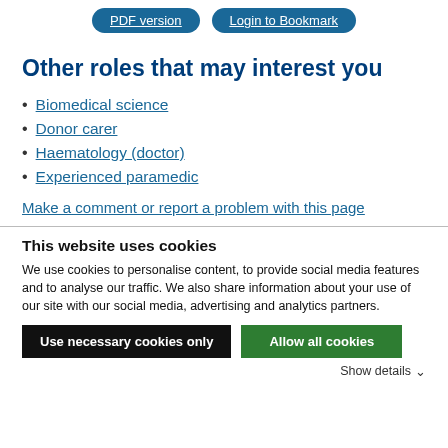[Figure (screenshot): Two pill-shaped blue buttons: 'PDF version' and 'Login to Bookmark']
Other roles that may interest you
Biomedical science
Donor carer
Haematology (doctor)
Experienced paramedic
Make a comment or report a problem with this page
This website uses cookies
We use cookies to personalise content, to provide social media features and to analyse our traffic. We also share information about your use of our site with our social media, advertising and analytics partners.
Use necessary cookies only
Allow all cookies
Show details